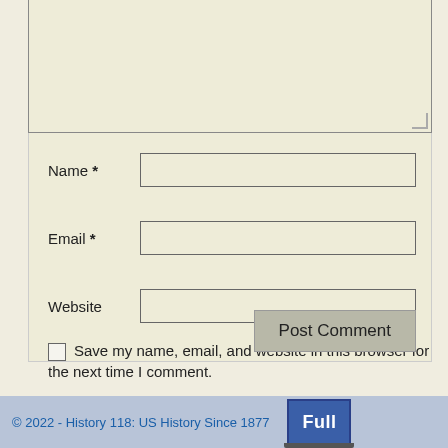[Figure (screenshot): Comment form textarea (empty, top portion visible) with resize handle at bottom right]
Name *
[Figure (screenshot): Name input field (empty text box)]
Email *
[Figure (screenshot): Email input field (empty text box)]
Website
[Figure (screenshot): Website input field (empty text box)]
Save my name, email, and website in this browser for the next time I comment.
Post Comment
© 2022 - History 118: US History Since 1877